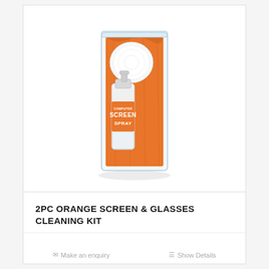[Figure (photo): A 2-piece orange screen and glasses cleaning kit in a clear plastic case. Contains a small spray bottle labeled 'COMPUTER SCREEN SPRAY' with orange and white text, an orange microfiber cleaning cloth folded behind it, and a white circular cleaning pad on top. The transparent PVC case stands upright.]
2PC ORANGE SCREEN & GLASSES CLEANING KIT
Make an enquiry   Show Details